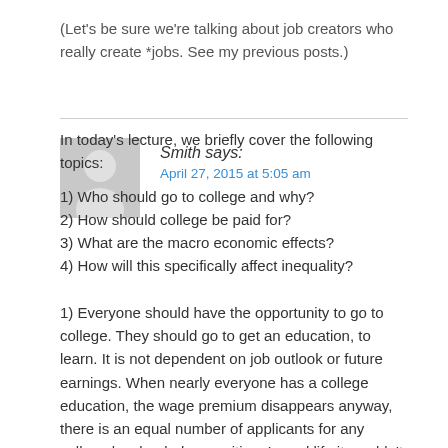(Let's be sure we're talking about job creators who really create *jobs. See my previous posts.)
[Figure (illustration): Generic grey avatar silhouette with circular head and torso shape on grey background]
Smith says:
April 27, 2015 at 5:05 am
In today's lecture, we briefly cover the following topics:
1) Who should go to college and why?
2) How should college be paid for?
3) What are the macro economic effects?
4) How will this specifically affect inequality?
1) Everyone should have the opportunity to go to college. They should go to get an education, to learn. It is not dependent on job outlook or future earnings. When nearly everyone has a college education, the wage premium disappears anyway, there is an equal number of applicants for any college level or below position. In real life it wouldn't work exactly that way, look at high school level jobs as an